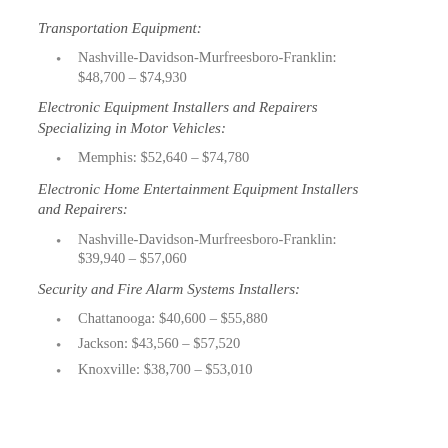Transportation Equipment:
Nashville-Davidson-Murfreesboro-Franklin: $48,700 – $74,930
Electronic Equipment Installers and Repairers Specializing in Motor Vehicles:
Memphis: $52,640 – $74,780
Electronic Home Entertainment Equipment Installers and Repairers:
Nashville-Davidson-Murfreesboro-Franklin: $39,940 – $57,060
Security and Fire Alarm Systems Installers:
Chattanooga: $40,600 – $55,880
Jackson: $43,560 – $57,520
Knoxville: $38,700 – $53,010